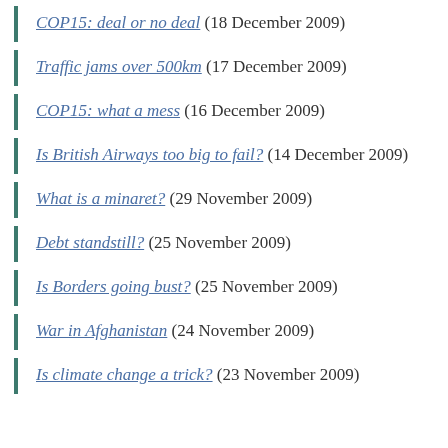COP15: deal or no deal (18 December 2009)
Traffic jams over 500km (17 December 2009)
COP15: what a mess (16 December 2009)
Is British Airways too big to fail? (14 December 2009)
What is a minaret? (29 November 2009)
Debt standstill? (25 November 2009)
Is Borders going bust? (25 November 2009)
War in Afghanistan (24 November 2009)
Is climate change a trick? (23 November 2009)